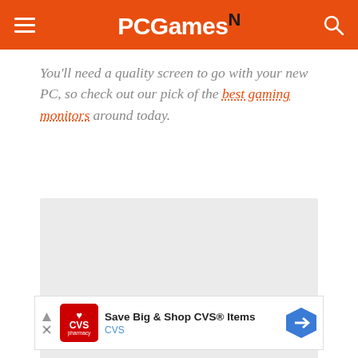PCGamesN
You'll need a quality screen to go with your new PC, so check out our pick of the best gaming monitors around today.
[Figure (other): Grey placeholder rectangle for an embedded image or media content]
[Figure (screenshot): Advertisement banner: Save Big & Shop CVS® Items - CVS pharmacy ad with CVS logo and navigation arrow icon]